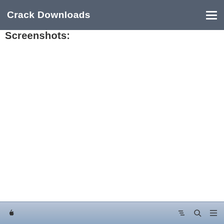Crack Downloads
Screenshots:
[Figure (screenshot): Bottom strip of a macOS-style browser interface showing Apple logo on left and filter/search/list icons on right, with a light blue-gray menu bar]